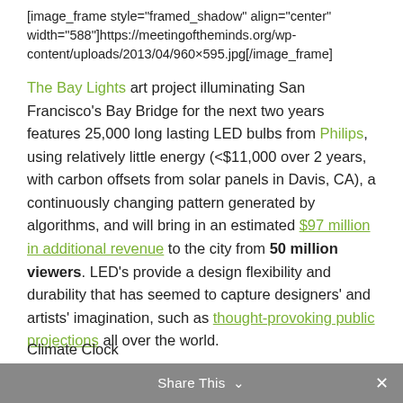[image_frame style="framed_shadow" align="center" width="588"]https://meetingoftheminds.org/wp-content/uploads/2013/04/960×595.jpg[/image_frame]
The Bay Lights art project illuminating San Francisco's Bay Bridge for the next two years features 25,000 long lasting LED bulbs from Philips, using relatively little energy (<$11,000 over 2 years, with carbon offsets from solar panels in Davis, CA), a continuously changing pattern generated by algorithms, and will bring in an estimated $97 million in additional revenue to the city from 50 million viewers. LED's provide a design flexibility and durability that has seemed to capture designers' and artists' imagination, such as thought-provoking public projections all over the world.
Climate Clock
Share This ∨  ×